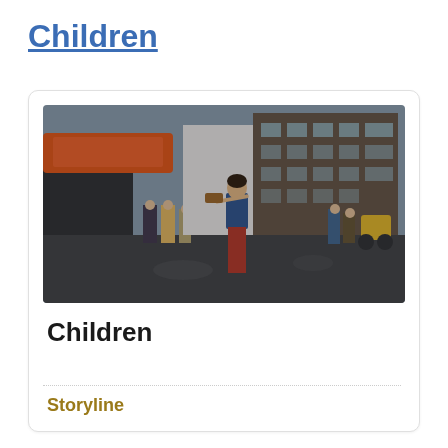Children
[Figure (photo): A young girl playing violin outdoors in an industrial setting, with workers and a large truck with an orange boat nearby, and a brick factory building in the background.]
Children
Storyline